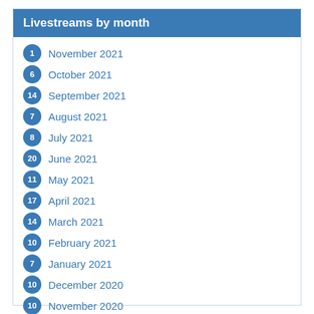Livestreams by month
1 November 2021
6 October 2021
14 September 2021
7 August 2021
8 July 2021
20 June 2021
11 May 2021
17 April 2021
14 March 2021
10 February 2021
7 January 2021
10 December 2020
10 November 2020